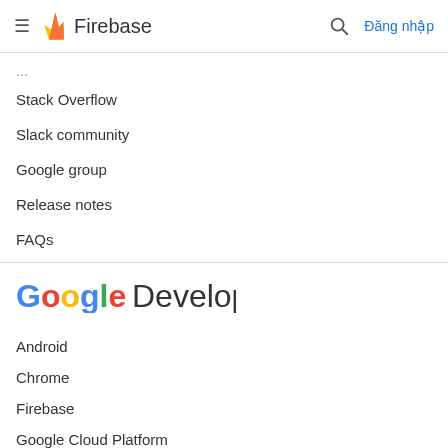Firebase — Đăng nhập
Stack Overflow
Slack community
Google group
Release notes
FAQs
[Figure (logo): Google Developers logo]
Android
Chrome
Firebase
Google Cloud Platform